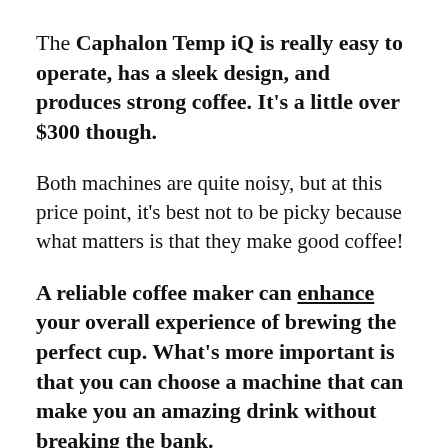The Caphalon Temp iQ is really easy to operate, has a sleek design, and produces strong coffee. It's a little over $300 though.
Both machines are quite noisy, but at this price point, it's best not to be picky because what matters is that they make good coffee!
A reliable coffee maker can enhance your overall experience of brewing the perfect cup. What's more important is that you can choose a machine that can make you an amazing drink without breaking the bank.